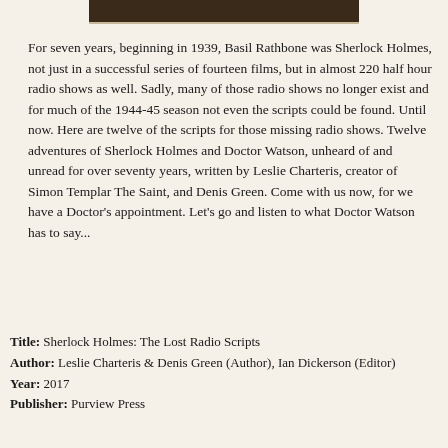[Figure (photo): Partial view of a book cover image showing a dark brown/sepia photograph, cropped at the top of the page]
For seven years, beginning in 1939, Basil Rathbone was Sherlock Holmes, not just in a successful series of fourteen films, but in almost 220 half hour radio shows as well. Sadly, many of those radio shows no longer exist and for much of the 1944-45 season not even the scripts could be found. Until now. Here are twelve of the scripts for those missing radio shows. Twelve adventures of Sherlock Holmes and Doctor Watson, unheard of and unread for over seventy years, written by Leslie Charteris, creator of Simon Templar The Saint, and Denis Green. Come with us now, for we have a Doctor's appointment. Let's go and listen to what Doctor Watson has to say...
Title: Sherlock Holmes: The Lost Radio Scripts
Author: Leslie Charteris & Denis Green (Author), Ian Dickerson (Editor)
Year: 2017
Publisher: Purview Press